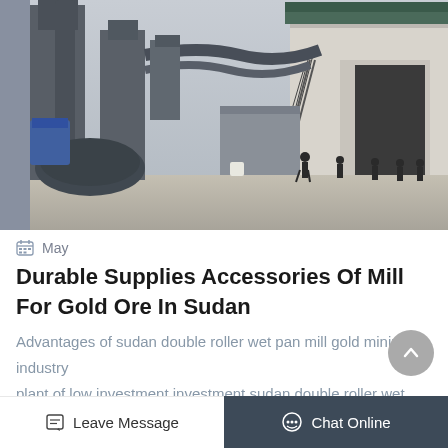[Figure (photo): Industrial mining mill facility with large cylindrical machinery, pipes, and ducts in foreground; a large warehouse/industrial building in background with workers visible walking on the right side; sandy/dirt ground; overcast daylight.]
May
Durable Supplies Accessories Of Mill For Gold Ore In Sudan
Advantages of sudan double roller wet pan mill gold mining industry plant of low investment investment sudan double roller wet pan mill gold mining industry plant of low i